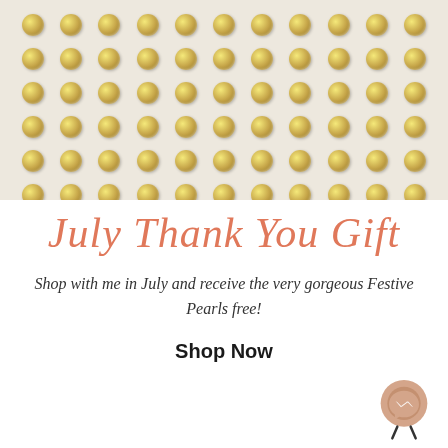[Figure (photo): Grid of gold/metallic pearl studs arranged in rows on a light cream/beige background, approximately 11 columns and 8 rows of round gold beads]
July Thank You Gift
Shop with me in July and receive the very gorgeous Festive Pearls free!
Shop Now